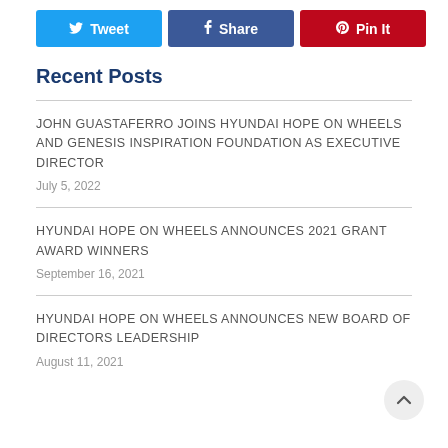Tweet | Share | Pin It
Recent Posts
JOHN GUASTAFERRO JOINS HYUNDAI HOPE ON WHEELS AND GENESIS INSPIRATION FOUNDATION AS EXECUTIVE DIRECTOR
July 5, 2022
HYUNDAI HOPE ON WHEELS ANNOUNCES 2021 GRANT AWARD WINNERS
September 16, 2021
HYUNDAI HOPE ON WHEELS ANNOUNCES NEW BOARD OF DIRECTORS LEADERSHIP
August 11, 2021